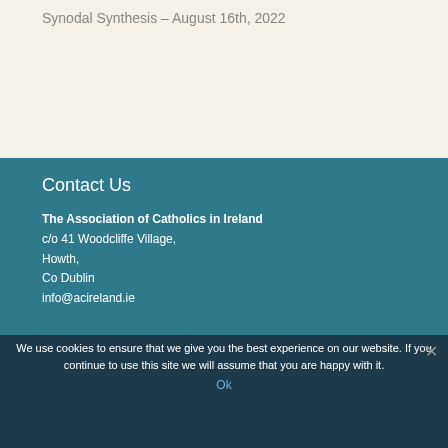Synodal Synthesis – August 16th, 2022
Contact Us
The Association of Catholics in Ireland
c/o 41 Woodcliffe Village,
Howth,
Co Dublin
info@acireland.ie
We use cookies to ensure that we give you the best experience on our website. If you continue to use this site we will assume that you are happy with it.
Ok
© 2013 – 2018 – The Association of Catholics in Ireland – Designed and Developed by GetOnline Pro